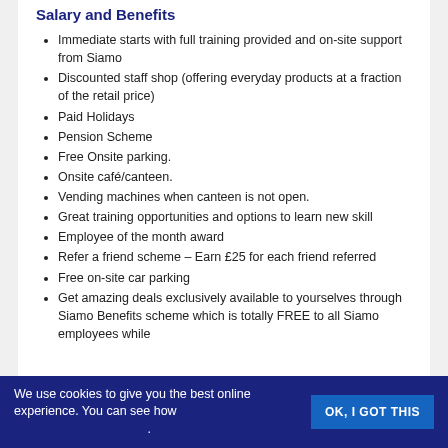Salary and Benefits
Immediate starts with full training provided and on-site support from Siamo
Discounted staff shop (offering everyday products at a fraction of the retail price)
Paid Holidays
Pension Scheme
Free Onsite parking.
Onsite café/canteen.
Vending machines when canteen is not open.
Great training opportunities and options to learn new skill
Employee of the month award
Refer a friend scheme – Earn £25 for each friend referred
Free on-site car parking
Get amazing deals exclusively available to yourselves through Siamo Benefits scheme which is totally FREE to all Siamo employees while
We use cookies to give you the best online experience. You can see how . OK, I GOT THIS